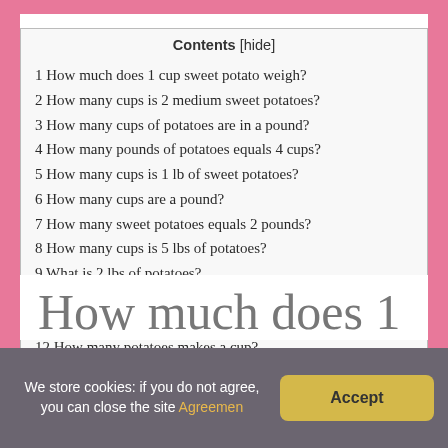Contents [hide]
1 How much does 1 cup sweet potato weigh?
2 How many cups is 2 medium sweet potatoes?
3 How many cups of potatoes are in a pound?
4 How many pounds of potatoes equals 4 cups?
5 How many cups is 1 lb of sweet potatoes?
6 How many cups are a pound?
7 How many sweet potatoes equals 2 pounds?
8 How many cups is 5 lbs of potatoes?
9 What is 2 lbs of potatoes?
10 How many potatoes are in a 5 lb bag?
11 How many lbs is 4 cups of flour?
12 How many potatoes makes a cup?
How much does 1
We store cookies: if you do not agree, you can close the site Agreement